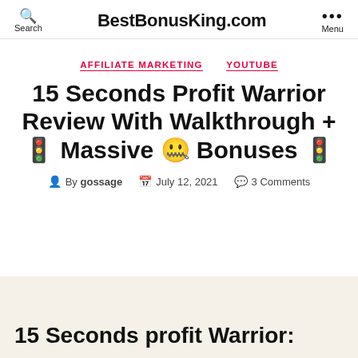BestBonusKing.com
AFFILIATE MARKETING   YOUTUBE
15 Seconds Profit Warrior Review With Walkthrough + 🚦 Massive 🤐 Bonuses 🚦
By gossage   July 12, 2021   3 Comments
15 Seconds profit Warrior: